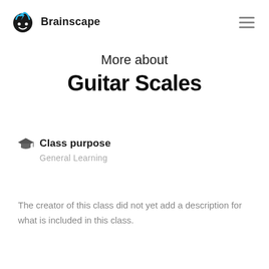Brainscape
More about Guitar Scales
Class purpose
General Learning
The creator of this class did not yet add a description for what is included in this class.